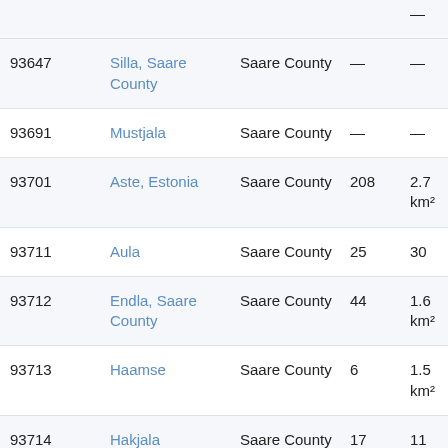| Code | Name | County | Population | Area |
| --- | --- | --- | --- | --- |
| 93647 | Silla, Saare County | Saare County | — | — |
| 93691 | Mustjala | Saare County | — | — |
| 93701 | Aste, Estonia | Saare County | 208 | 2.7 km² |
| 93711 | Aula | Saare County | 25 | 30 |
| 93712 | Endla, Saare County | Saare County | 44 | 1.6 km² |
| 93713 | Haamse | Saare County | 6 | 1.5 km² |
| 93714 | Hakjala | Saare County | 17 | 11 km² |